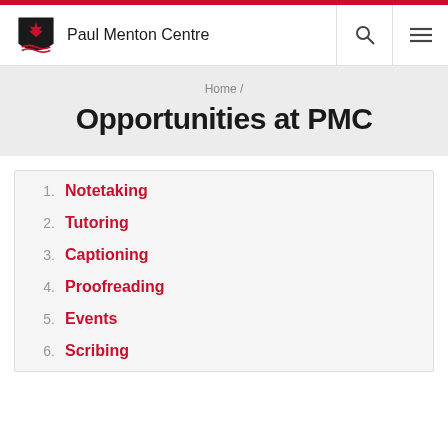Paul Menton Centre
Home /
Opportunities at PMC
1. Notetaking
2. Tutoring
3. Captioning
4. Proofreading
5. Events
6. Scribing